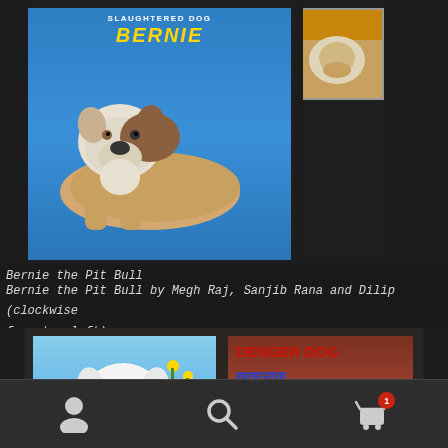[Figure (photo): Photo showing painted dog signs featuring Bernie the Pit Bull — a large blue sign with yellow lettering saying BERNIE, showing a painted pit bull dog, and a small reference photo to the right.]
Bernie the Pit Bull
Bernie the Pit Bull by Megh Raj, Sanjib Rana and Dilip (clockwise from top left).
[Figure (photo): Photo showing two hand-painted danger dog signs side by side. Left sign shows a white dog with 'DANGER DOG' in orange/red letters on a blue/green background. Right sign shows a tan/yellow dog on a brown/red background with 'DENGER DOG' in red and Devanagari script text in blue below. A partially visible blue sign appears at the bottom.]
Navigation bar with person icon, search icon, and cart icon with badge showing 1